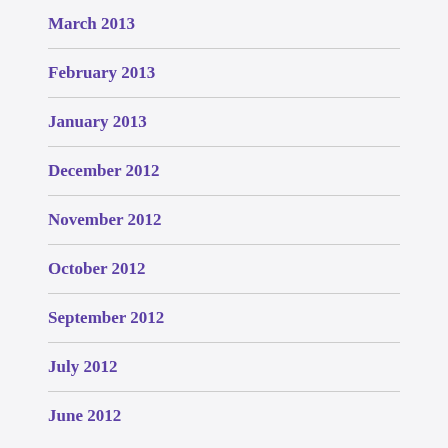March 2013
February 2013
January 2013
December 2012
November 2012
October 2012
September 2012
July 2012
June 2012